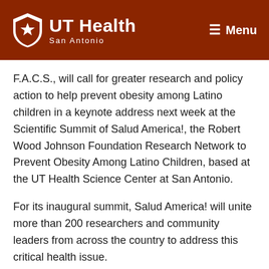UT Health San Antonio — Menu
F.A.C.S., will call for greater research and policy action to help prevent obesity among Latino children in a keynote address next week at the Scientific Summit of Salud America!, the Robert Wood Johnson Foundation Research Network to Prevent Obesity Among Latino Children, based at the UT Health Science Center at San Antonio.
For its inaugural summit, Salud America! will unite more than 200 researchers and community leaders from across the country to address this critical health issue.